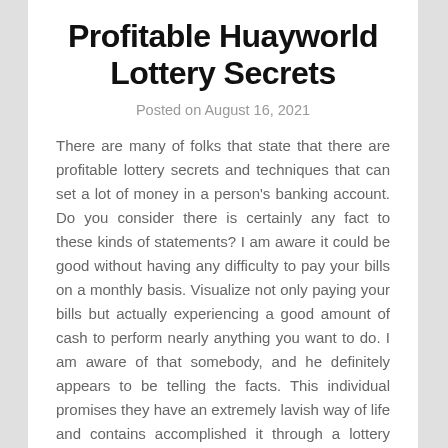Profitable Huayworld Lottery Secrets
Posted on August 16, 2021
There are many of folks that state that there are profitable lottery secrets and techniques that can set a lot of money in a person's banking account. Do you consider there is certainly any fact to these kinds of statements? I am aware it could be good without having any difficulty to pay your bills on a monthly basis. Visualize not only paying your bills but actually experiencing a good amount of cash to perform nearly anything you want to do. I am aware of that somebody, and he definitely appears to be telling the facts. This individual promises they have an extremely lavish way of life and contains accomplished it through a lottery method that actually works adequately. He not simply